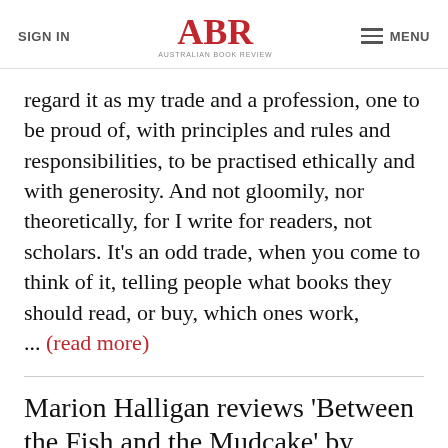SIGN IN | ABR Australian Book Review | MENU
regard it as my trade and a profession, one to be proud of, with principles and rules and responsibilities, to be practised ethically and with generosity. And not gloomily, nor theoretically, for I write for readers, not scholars. It’s an odd trade, when you come to think of it, telling people what books they should read, or buy, which ones work, ... (read more)
Marion Halligan reviews 'Between the Fish and the Mudcake' by Andrew Riemer